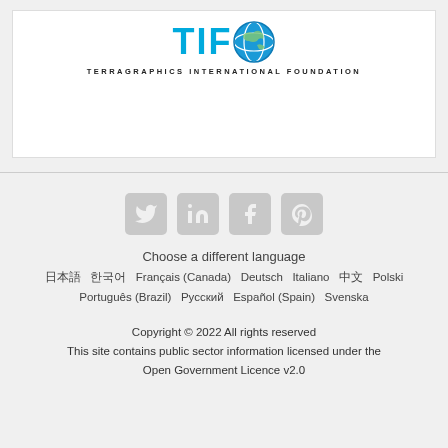[Figure (logo): TIFO Terragraphics International Foundation logo with globe replacing the O]
Choose a different language
日本語 한국어 Français (Canada) Deutsch Italiano 中文 Polski Português (Brazil) Русский Español (Spain) Svenska
Copyright © 2022 All rights reserved
This site contains public sector information licensed under the Open Government Licence v2.0